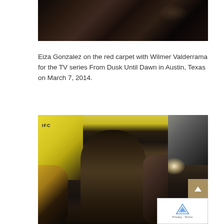[Figure (photo): Dark photograph of red carpet event, showing blurred crowd with cameras and phones raised, taken from behind — partial top of image visible]
Eiza Gonzalez on the red carpet with Wilmer Valderrama for the TV series From Dusk Until Dawn in Austin, Texas on March 7, 2014.
[Figure (photo): Photo of a man wearing a black hat and sunglasses at a red carpet event, with IFC banners visible, surrounded by media with cameras and microphones, foreground figures visible, bright camera lights in background]